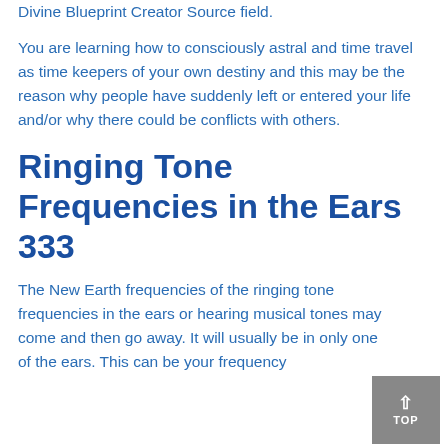… that is being given as an upgrade expansion of your Divine Blueprint Creator Source field.
You are learning how to consciously astral and time travel as time keepers of your own destiny and this may be the reason why people have suddenly left or entered your life and/or why there could be conflicts with others.
Ringing Tone Frequencies in the Ears 333
The New Earth frequencies of the ringing tone frequencies in the ears or hearing musical tones may come and then go away. It will usually be in only one of the ears. This can be your frequency